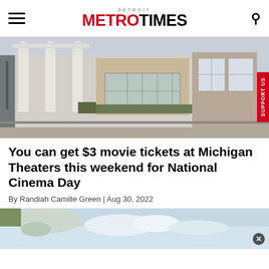Detroit Metro Times
[Figure (photo): Exterior of a Michigan movie theater building with white canopy columns, glass entrance doors, brick facade, and ornamental grasses in front.]
You can get $3 movie tickets at Michigan Theaters this weekend for National Cinema Day
By Randiah Camille Green | Aug 30, 2022
[Figure (photo): Partial photo visible at bottom of page, appears to show an animal or object against a blue sky with clouds.]